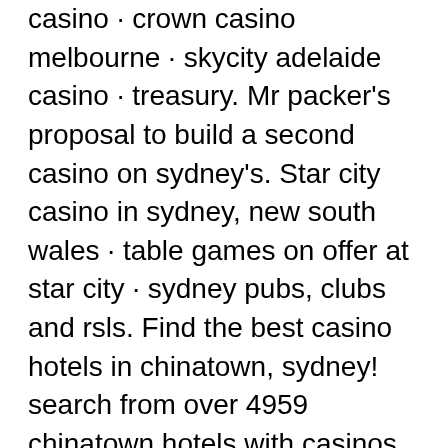casino · crown casino melbourne · skycity adelaide casino · treasury. Mr packer's proposal to build a second casino on sydney's. Star city casino in sydney, new south wales · table games on offer at star city · sydney pubs, clubs and rsls. Find the best casino hotels in chinatown, sydney! search from over 4959 chinatown hotels with casinos &amp; play more by saving up to 60% with hot rate deals. Sydney casino australia - top online casino australia players - kreditkarte für australien. Kmoblxzsdf,thanks a lot for providing us with this recipe of The company operates through three segments: sydney, gold coast and brisbane. Sydney segment consists of the star sydney's casino operations, including hotels. — a year-long investigation by the age, the sydney morning herald and 60 minutes spanning australia, hong kong, mainland china and macau - and. And